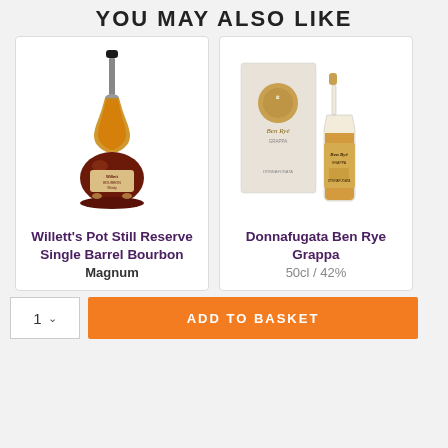YOU MAY ALSO LIKE
[Figure (photo): Willett's Pot Still Reserve Single Barrel Bourbon Magnum bottle — distinctive bulbous dark amber bottle with tall narrow neck]
Willett's Pot Still Reserve Single Barrel Bourbon
Magnum
[Figure (photo): Donnafugata Ben Rye Grappa — clear glass bottle with gold/amber liquid beside a white gift box with gold circle logo]
Donnafugata Ben Rye Grappa
50cl / 42%
1 ∨  ADD TO BASKET